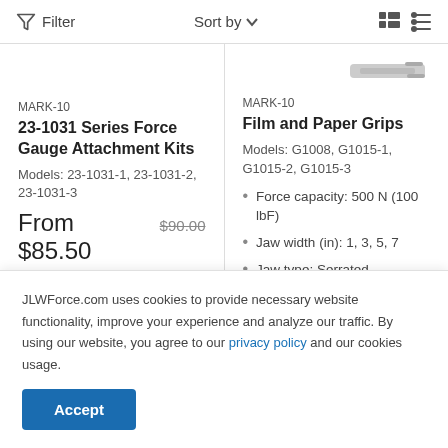Filter   Sort by   [grid] [list]
MARK-10
23-1031 Series Force Gauge Attachment Kits
Models: 23-1031-1, 23-1031-2, 23-1031-3
From $85.50  $90.00
MARK-10
Film and Paper Grips
Models: G1008, G1015-1, G1015-2, G1015-3
Force capacity: 500 N (100 lbF)
Jaw width (in): 1, 3, 5, 7
Jaw type: Serrated
JLWForce.com uses cookies to provide necessary website functionality, improve your experience and analyze our traffic. By using our website, you agree to our privacy policy and our cookies usage.
Accept